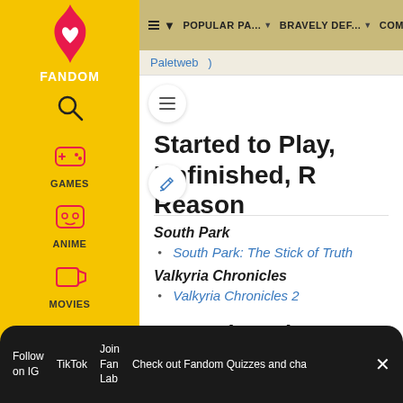POPULAR PA... | BRAVELY DEF... | COMMUNITY
Paletweb )
Started to Play, Unfinished, R... Reason
South Park
South Park: The Stick of Truth
Valkyria Chronicles
Valkyria Chronicles 2
Started to Play a LONG TIME A
Final Fantasy series
Follow on IG | TikTok | Join Fan Lab | Check out Fandom Quizzes and cha